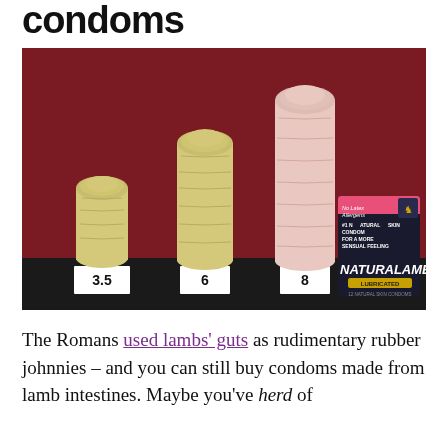condoms
[Figure (photo): Photo showing four differently-sized objects covered with naturalamb (lamb intestine) condoms on a dark surface: labeled 3.5, 6, and 8, with a NATURALAMB condom box visible on the right side. The box reads: No Latex Allergens, #1 Natural Skin Condom For A More Sensual Feeling, NATURALAMB, LUBRICATED, 12 Natural Skin Condoms.]
The Romans used lambs' guts as rudimentary rubber johnnies – and you can still buy condoms made from lamb intestines. Maybe you've herd of